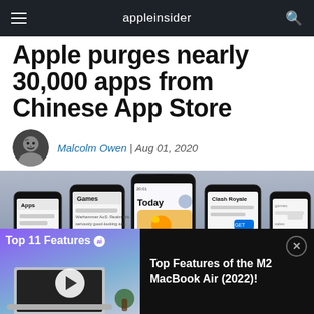appleinsider
Apple purges nearly 30,000 apps from Chinese App Store
Malcolm Owen | Aug 01, 2020
[Figure (photo): Multiple iPhones showing App Store screens including Apps, Games, Today, and Clash Royale sections]
[Figure (screenshot): Ad bar: Top 11 Features ai - Top Features of the M2 MacBook Air (2022)! with video thumbnail of MacBook Air and play button]